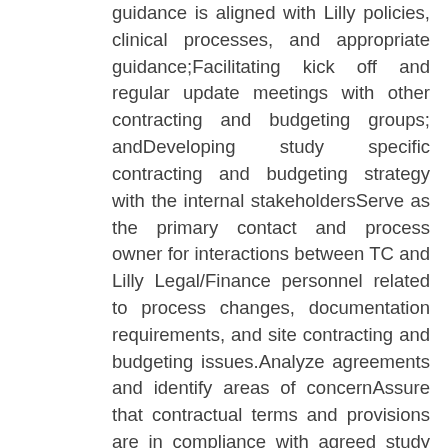guidance is aligned with Lilly policies, clinical processes, and appropriate guidance;Facilitating kick off and regular update meetings with other contracting and budgeting groups; andDeveloping study specific contracting and budgeting strategy with the internal stakeholdersServe as the primary contact and process owner for interactions between TC and Lilly Legal/Finance personnel related to process changes, documentation requirements, and site contracting and budgeting issues.Analyze agreements and identify areas of concernAssure that contractual terms and provisions are in compliance with agreed study level process, strategies, conformance to applicable laws & precedents. Arrange legal input where needed.Contract and Budget Process Improvements-The Associate is responsible for identifying and implementing improvements to the contracting and budgeting processes.Accountable for standardizing and streamlining contract and budget negotiation activities, as well as using metrics to drive